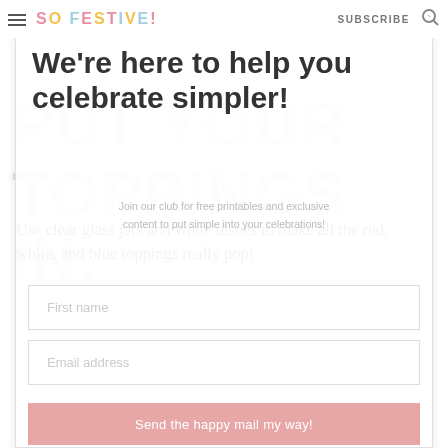SO FESTIVE! SUBSCRIBE
We're here to help you celebrate simpler!
[Figure (screenshot): Background watermark text reading PUT YOUR TOPPINGS IN. in large light blue letters]
Join our club for free printables and exclusive content to put simple into your celebrations!
Use clear glass jars and white dishes to make all the red, white, and blue toppings really pop!
First name
Email address
Send the happy mail my way!